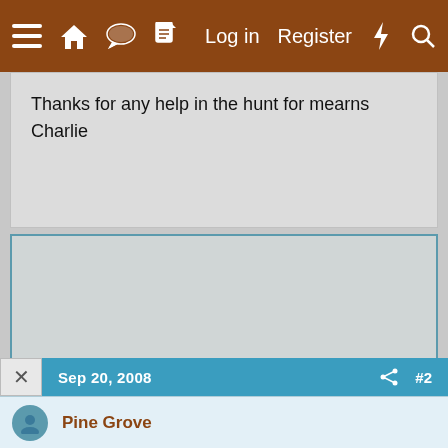≡  🏠  💬  📄   Log in   Register  ⚡  🔍
Thanks for any help in the hunt for mearns
Charlie
[Figure (other): Map area placeholder - large grey rectangular area with teal/blue border, showing an embedded map view. Two green scroll navigation buttons (up and down arrows) positioned at the lower right of the map area.]
Sep 20, 2008   #2
Pine Grove